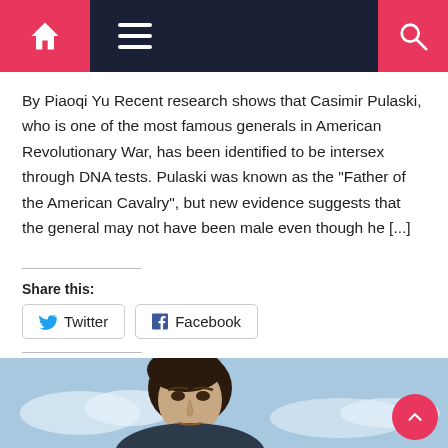Navigation bar with home, menu, and search icons
By Piaoqi Yu Recent research shows that Casimir Pulaski, who is one of the most famous generals in American Revolutionary War, has been identified to be intersex through DNA tests. Pulaski was known as the "Father of the American Cavalry", but new evidence suggests that the general may not have been male even though he [...]
Share this:
Twitter  Facebook
Like this:
Like
Be the first to like this.
[Figure (photo): Partial photo of a man with dark hair against a sky background, with a pink circular back-to-top button in the bottom right corner]